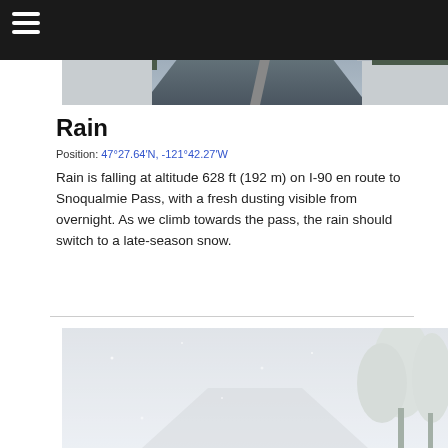[Figure (photo): Top navigation bar with hamburger menu icon (three white horizontal lines) on dark/black background, with a road photo visible to the right showing a snowy highway with guardrails and trees]
Rain
Position: 47°27.64′N, -121°42.27′W
Rain is falling at altitude 628 ft (192 m) on I-90 en route to Snoqualmie Pass, with a fresh dusting visible from overnight. As we climb towards the pass, the rain should switch to a late-season snow.
[Figure (photo): Snowy white-out road scene with snow-covered evergreen trees visible on the right side, taken through a windshield or from road level]